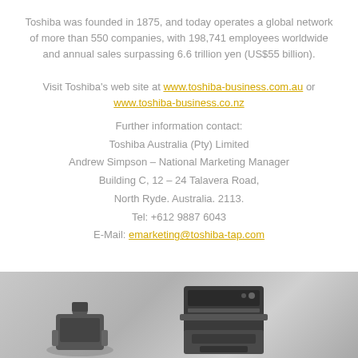Toshiba was founded in 1875, and today operates a global network of more than 550 companies, with 198,741 employees worldwide and annual sales surpassing 6.6 trillion yen (US$55 billion). Visit Toshiba's web site at www.toshiba-business.com.au or www.toshiba-business.co.nz
Further information contact: Toshiba Australia (Pty) Limited Andrew Simpson – National Marketing Manager Building C, 12 – 24 Talavera Road, North Ryde. Australia. 2113. Tel: +612 9887 6043 E-Mail: emarketing@toshiba-tap.com
[Figure (photo): Black and white photograph showing Toshiba printer/copier devices at the bottom of the page]